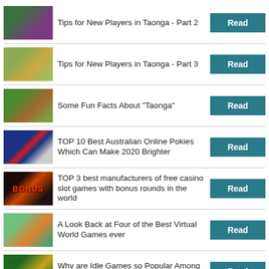Tips for New Players in Taonga - Part 2
Tips for New Players in Taonga - Part 3
Some Fun Facts About "Taonga"
TOP 10 Best Australian Online Pokies Which Can Make 2020 Brighter
TOP 3 best manufacturers of free casino slot games with bonus rounds in the world
A Look Back at Four of the Best Virtual World Games ever
Why are Idle Games so Popular Among Mobile Gamers?